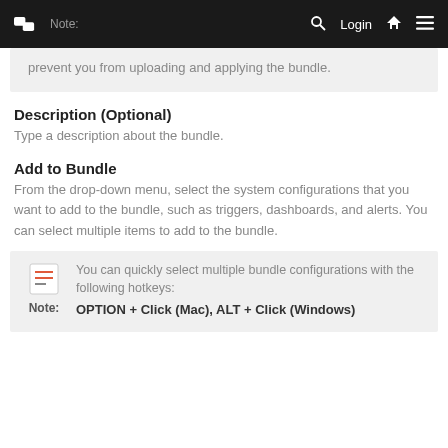Note: Login
prevent you from uploading and applying the bundle.
Description (Optional)
Type a description about the bundle.
Add to Bundle
From the drop-down menu, select the system configurations that you want to add to the bundle, such as triggers, dashboards, and alerts. You can select multiple items to add to the bundle.
Note: You can quickly select multiple bundle configurations with the following hotkeys: OPTION + Click (Mac), ALT + Click (Windows)